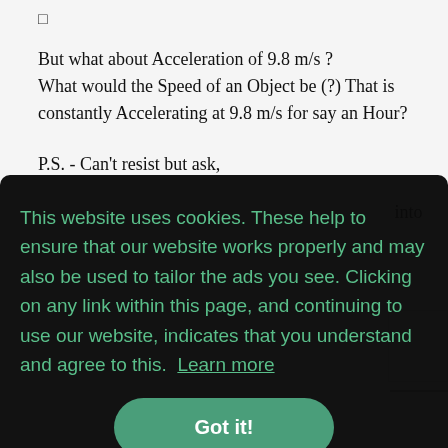□
But what about Acceleration of 9.8 m/s ? What would the Speed of an Object be (?) That is constantly Accelerating at 9.8 m/s for say an Hour?
P.S. - Can't resist but ask,
This website uses cookies. These help to ensure that our website works properly and may also be used to tailor the ads you see. Clicking on any link within this page, and continuing to use our website, indicates that you understand and agree to this. Learn more
Got it!